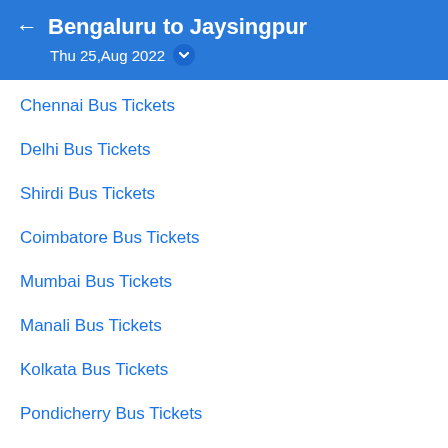Bengaluru to Jaysingpur — Thu 25,Aug 2022
Chennai Bus Tickets
Delhi Bus Tickets
Shirdi Bus Tickets
Coimbatore Bus Tickets
Mumbai Bus Tickets
Manali Bus Tickets
Kolkata Bus Tickets
Pondicherry Bus Tickets
Pune Bus Tickets
Vijayawada Bus Tickets
Mangalore Bus Tickets
Kodaikanal Bus Tickets